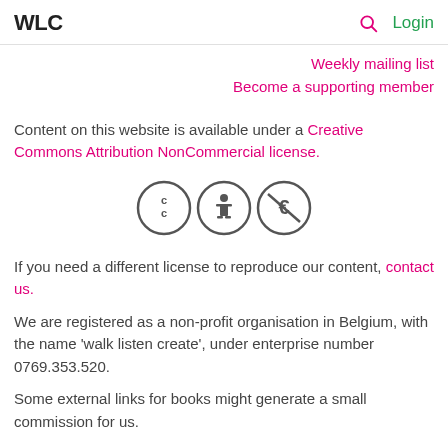WLC  🔍 Login
Weekly mailing list
Become a supporting member
Content on this website is available under a Creative Commons Attribution NonCommercial license.
[Figure (illustration): Creative Commons license icons: CC, Attribution (person), NonCommercial (euro with slash)]
If you need a different license to reproduce our content, contact us.
We are registered as a non-profit organisation in Belgium, with the name 'walk listen create', under enterprise number 0769.353.520.
Some external links for books might generate a small commission for us.